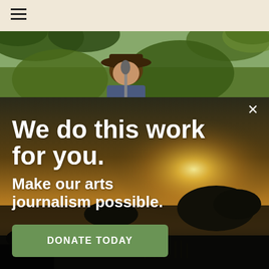[Figure (screenshot): Mobile website header with hamburger menu icon on beige/tan background]
[Figure (photo): Outdoor photo of a person wearing a hat near a microphone, surrounded by trees and foliage]
[Figure (photo): Sunset landscape photo over water with silhouetted rocky islands and shoreline vegetation, used as overlay background for donation call-to-action]
We do this work for you.
Make our arts journalism possible.
DONATE TODAY